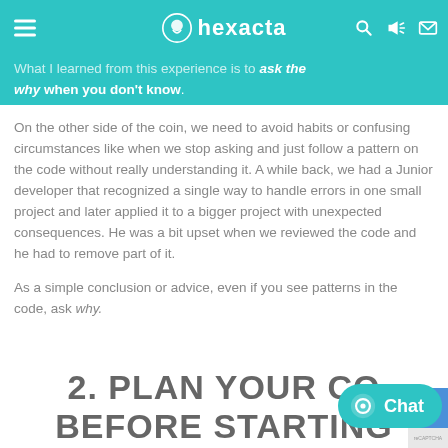hexacta
hours.
What I learned from this experience is to ask the why when you don't know.
On the other side of the coin, we need to avoid habits or confusing circumstances like when we stop asking and just follow a pattern on the code without really understanding it. A while back, we had a Junior developer that recognized a single way to handle errors in one small project and later applied it to a bigger project with unexpected consequences. He was a bit upset when we reviewed the code and he had to remove part of it.
As a simple conclusion or advice, even if you see patterns in the code, ask why.
2. PLAN YOUR CODE BEFORE STARTING